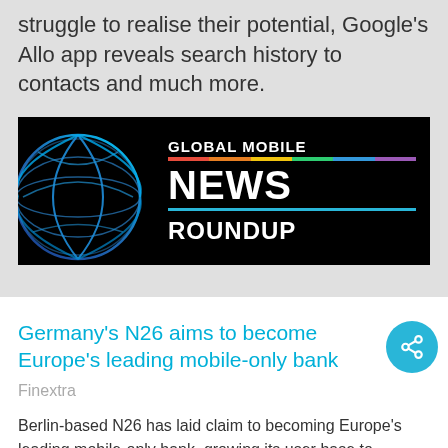struggle to realise their potential, Google's Allo app reveals search history to contacts and much more.
[Figure (logo): Global Mobile News Roundup banner with globe graphic on black background]
Germany's N26 aims to become Europe's leading mobile-only bank
Finextra
Berlin-based N26 has laid claim to becoming Europe's leading mobile-only bank, growing its user base to 300,000 and recording a seven-fold growth in transaction volumes over the past